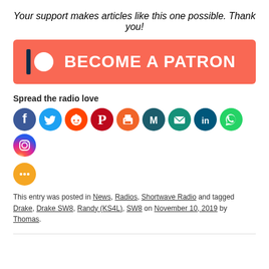Your support makes articles like this one possible. Thank you!
[Figure (logo): Patreon 'Become a Patron' button with coral/salmon background, Patreon logo (vertical bar and circle) on the left, bold white text 'BECOME A PATRON']
Spread the radio love
[Figure (infographic): Row of social media sharing icons: Facebook (blue), Twitter (light blue), Reddit (orange-red), Pinterest (red), Print (orange), Minds (dark teal), Email (teal), LinkedIn (dark blue), WhatsApp (green), Instagram (purple gradient), Share (orange)]
This entry was posted in News, Radios, Shortwave Radio and tagged Drake, Drake SW8, Randy (KS4L), SW8 on November 10, 2019 by Thomas.